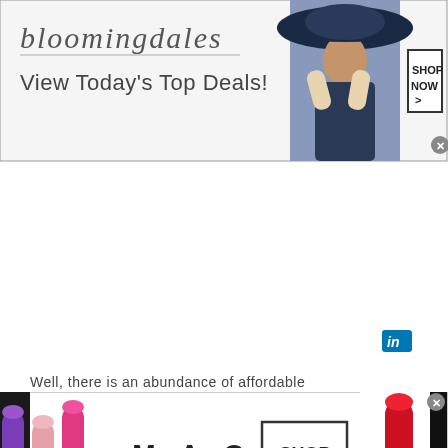[Figure (screenshot): Bloomingdale's advertisement banner with logo, 'View Today's Top Deals!' tagline, a model wearing a wide-brim navy hat, and a 'SHOP NOW >' button in a bordered box. Close X button in bottom right.]
[Figure (screenshot): LinkedIn 'in' icon button, small blue rounded rectangle.]
Well, there is an abundance of affordable
[Figure (screenshot): MAC cosmetics advertisement banner showing colorful lipsticks on left and right, M·A·C logo in center, and 'SHOP NOW' in a bordered box. Close X button in top right.]